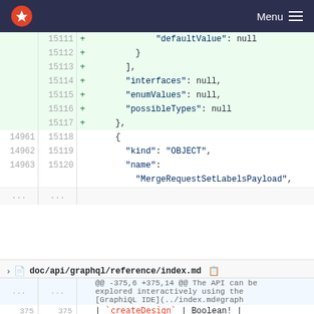[Figure (screenshot): Navigation bar with GitLab logo and Menu button on dark blue background]
Code diff showing lines 15111-15117 (added, green) and lines 14961-15120 (context), JSON content with defaultValue, interfaces, enumValues, possibleTypes fields, and MergeRequestSetLabelsPayload
doc/api/graphql/reference/index.md
@@ -375,6 +375,14 @@ The API can be explored interactively using the [GraphiQL IDE](../index.md#graph
375  375  | `createDesign` | Boolean! | Whether or not a user can perform